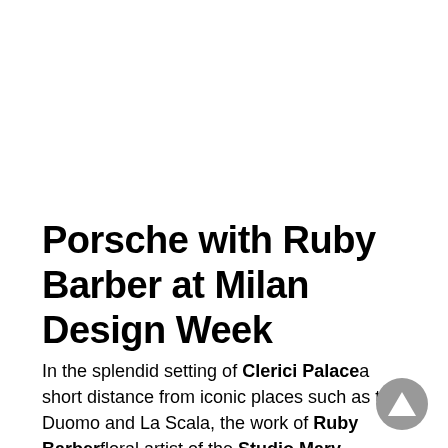Porsche with Ruby Barber at Milan Design Week
In the splendid setting of Clerici Palacea short distance from iconic places such as the Duomo and La Scala, the work of Ruby Barberfloral artist of the Studio Mary Lennox. An immersive installation, which leads those who visit it to